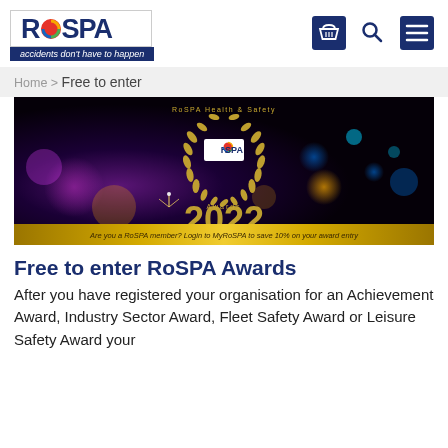[Figure (logo): RoSPA logo with tagline 'accidents don't have to happen' on dark blue background]
[Figure (illustration): Navigation icons: basket/cart, search magnifier, hamburger menu on dark blue background]
Home > Free to enter
[Figure (photo): RoSPA Health & Safety Awards 2022 banner image on dark background with colored bokeh lights. Gold laurel wreath with RoSPA logo in center and '2022' in gold below. Gold bar at bottom reads: Are you a RoSPA member? Login to MyRoSPA to save 10% on your award entry]
Free to enter RoSPA Awards
After you have registered your organisation for an Achievement Award, Industry Sector Award, Fleet Safety Award or Leisure Safety Award your